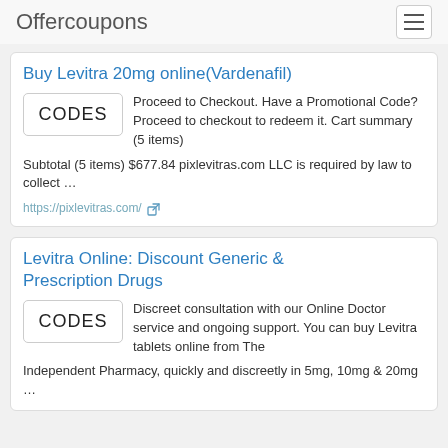Offercoupons
Buy Levitra 20mg online(Vardenafil)
Proceed to Checkout. Have a Promotional Code? Proceed to checkout to redeem it. Cart summary (5 items) Subtotal (5 items) $677.84 pixlevitras.com LLC is required by law to collect …
https://pixlevitras.com/
Levitra Online: Discount Generic & Prescription Drugs
Discreet consultation with our Online Doctor service and ongoing support. You can buy Levitra tablets online from The Independent Pharmacy, quickly and discreetly in 5mg, 10mg & 20mg …